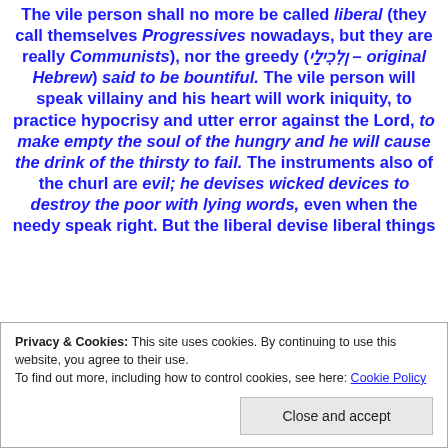The vile person shall no more be called liberal (they call themselves Progressives nowadays, but they are really Communists), nor the greedy (וְלִכִילַי – original Hebrew) said to be bountiful. The vile person will speak villainy and his heart will work iniquity, to practice hypocrisy and utter error against the Lord, to make empty the soul of the hungry and he will cause the drink of the thirsty to fail. The instruments also of the churl are evil; he devises wicked devices to destroy the poor with lying words, even when the needy speak right. But the liberal devise liberal things
Privacy & Cookies: This site uses cookies. By continuing to use this website, you agree to their use. To find out more, including how to control cookies, see here: Cookie Policy